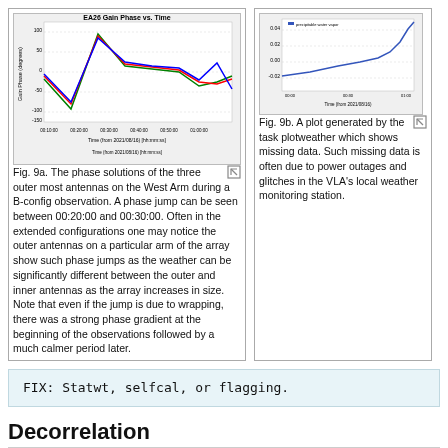[Figure (continuous-plot): EA26 Gain Phase vs. Time plot showing phase solutions of three outer antennas on the West Arm, with a phase jump visible between 00:20:00 and 00:30:00]
Fig. 9a. The phase solutions of the three outer most antennas on the West Arm during a B-config observation. A phase jump can be seen between 00:20:00 and 00:30:00. Often in the extended configurations one may notice the outer antennas on a particular arm of the array show such phase jumps as the weather can be significantly different between the outer and inner antennas as the array increases in size. Note that even if the jump is due to wrapping, there was a strong phase gradient at the beginning of the observations followed by a much calmer period later.
[Figure (continuous-plot): A plot generated by the task plotweather showing missing data with a curve that rises sharply at the right end]
Fig. 9b. A plot generated by the task plotweather which shows missing data. Such missing data is often due to power outages and glitches in the VLA's local weather monitoring station.
FIX: Statwt, selfcal, or flagging.
Decorrelation